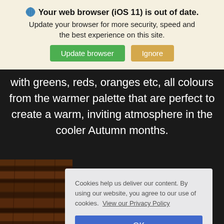Your web browser (iOS 11) is out of date. Update your browser for more security, speed and the best experience on this site. [Update browser] [Ignore]
with greens, reds, oranges etc, all colours from the warmer palette that are perfect to create a warm, inviting atmosphere in the cooler Autumn months.
[Figure (photo): Wooden surface/floor in dark brown tones]
Cookies help us deliver our content. By using our website, you agree to our use of cookies. View our Privacy Policy OK